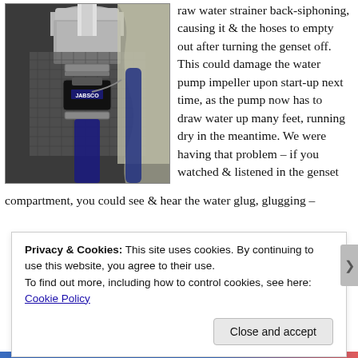[Figure (photo): Photo of a Jabsco water pump installed in a genset compartment, with hoses and clamps visible, mounted on what appears to be a heat-insulated surface.]
raw water strainer back-siphoning, causing it & the hoses to empty out after turning the genset off.  This could damage the water pump impeller upon start-up next time, as the pump now has to draw water up many feet, running dry in the meantime.  We were having that problem – if you watched & listened in the genset compartment, you could see & hear the water glug, glugging –
Privacy & Cookies: This site uses cookies. By continuing to use this website, you agree to their use.
To find out more, including how to control cookies, see here: Cookie Policy
Close and accept